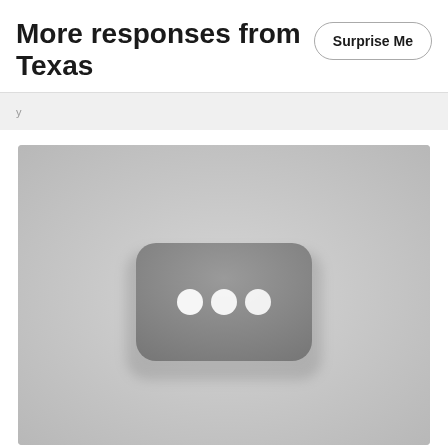More responses from Texas
Surprise Me
[Figure (screenshot): A loading/placeholder thumbnail image with a dark rounded rectangle containing three white dots, set against a light grey background, resembling a YouTube video thumbnail placeholder.]